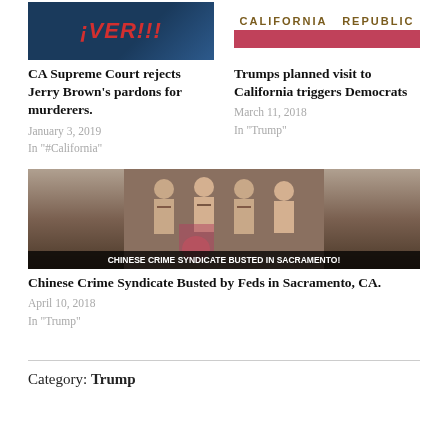[Figure (photo): Partial image showing text 'VER!!!' in red and a man in suit with tie on dark background]
CA Supreme Court rejects Jerry Brown's pardons for murderers.
January 3, 2019
In "#California"
[Figure (photo): California Republic logo text and a pink/red horizontal bar]
Trumps planned visit to California triggers Democrats
March 11, 2018
In "Trump"
[Figure (photo): Shirtless men showing tattoos on their backs, with overlay text reading 'CHINESE CRIME SYNDICATE BUSTED IN SACRAMENTO!']
Chinese Crime Syndicate Busted by Feds in Sacramento, CA.
April 10, 2018
In "Trump"
Category: Trump